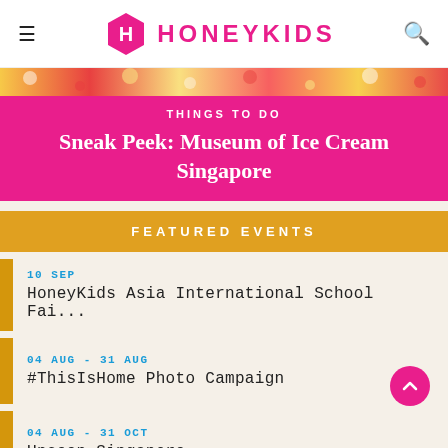HONEYKIDS
[Figure (photo): Colorful ice cream toppings/candies hero image strip]
THINGS TO DO
Sneak Peek: Museum of Ice Cream Singapore
FEATURED EVENTS
10 SEP
HoneyKids Asia International School Fai...
04 AUG - 31 AUG
#ThisIsHome Photo Campaign
04 AUG - 31 OCT
Unseen Singapore